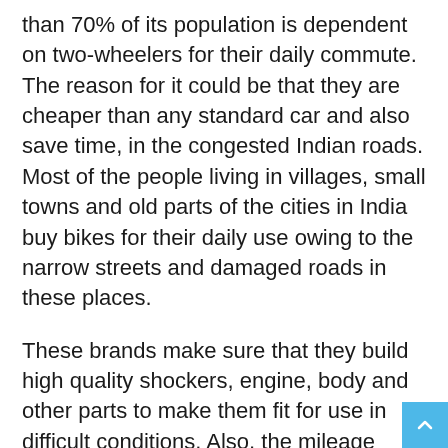than 70% of its population is dependent on two-wheelers for their daily commute. The reason for it could be that they are cheaper than any standard car and also save time, in the congested Indian roads. Most of the people living in villages, small towns and old parts of the cities in India buy bikes for their daily use owing to the narrow streets and damaged roads in these places.
These brands make sure that they build high quality shockers, engine, body and other parts to make them fit for use in difficult conditions. Also, the mileage becomes another factor in the popularity of the bike. Fully functional bike which looks great, if doesn't give great mileage, is left behind and the one which gives good mileage is bought even if it is not so good-looking.